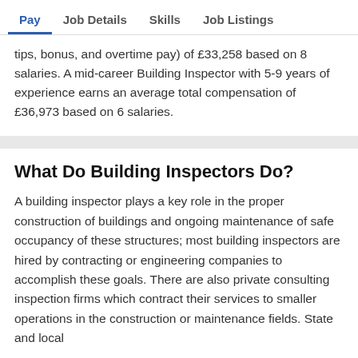Pay | Job Details | Skills | Job Listings
tips, bonus, and overtime pay) of £33,258 based on 8 salaries. A mid-career Building Inspector with 5-9 years of experience earns an average total compensation of £36,973 based on 6 salaries.
What Do Building Inspectors Do?
A building inspector plays a key role in the proper construction of buildings and ongoing maintenance of safe occupancy of these structures; most building inspectors are hired by contracting or engineering companies to accomplish these goals. There are also private consulting inspection firms which contract their services to smaller operations in the construction or maintenance fields. State and local